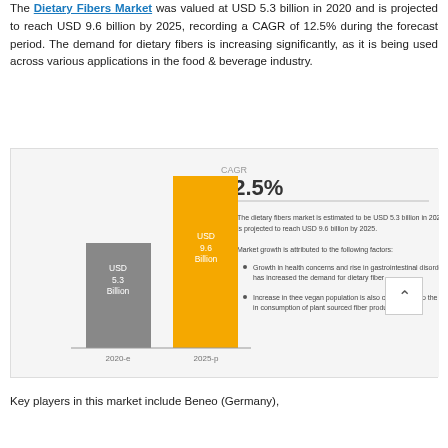The Dietary Fibers Market was valued at USD 5.3 billion in 2020 and is projected to reach USD 9.6 billion by 2025, recording a CAGR of 12.5% during the forecast period. The demand for dietary fibers is increasing significantly, as it is being used across various applications in the food & beverage industry.
[Figure (bar-chart): CAGR 12.5%]
Key players in this market include Beneo (Germany),